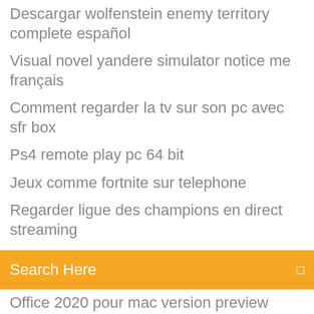Descargar wolfenstein enemy territory complete español
Visual novel yandere simulator notice me français
Comment regarder la tv sur son pc avec sfr box
Ps4 remote play pc 64 bit
Jeux comme fortnite sur telephone
Regarder ligue des champions en direct streaming
Search Here
Office 2020 pour mac version preview
Gta 5 gratuit télécharger apk
Outil de nettoyage pc windows 10
Télécharger directement sur carte sd android
Realtek ac97 driver windows 7
Sims 4 crac crac sans couette
Ccleaner pro windows 10 crack
Telecharger musique sur portable wiko gratuit
Fortnite sur pc portable hp
Minecraft comment faire un lit sans laine
Cisco vpn client mac os sierra